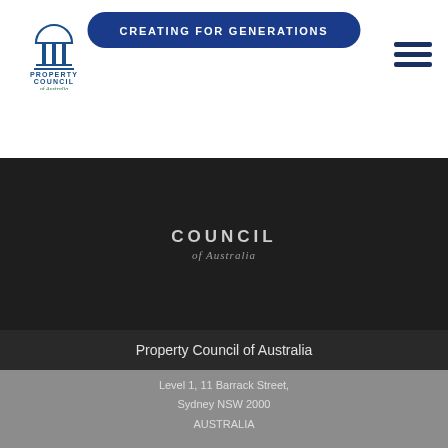[Figure (logo): Property Council of Australia logo with building/columns icon, blue text PROPERTY COUNCIL and green italic 'of Australia']
CREATING FOR GENERATIONS
[Figure (illustration): Hamburger menu icon (three horizontal dark blue lines)]
[Figure (logo): COUNCIL of Australia text logo in grey/dark strip]
Property Council of Australia
Level 1, 11 Barrack Street, Sydney NSW 2000 AUSTRALIA
[Figure (illustration): Five circular social media icon buttons: home, Facebook, Twitter, LinkedIn, YouTube]
[Figure (logo): Faded Property Council of Australia watermark logo overlay]
propertycouncil.com.au
info@propertycouncil.com.au
ABN: 13 00847 4422
+61 (0)2 9033 1900